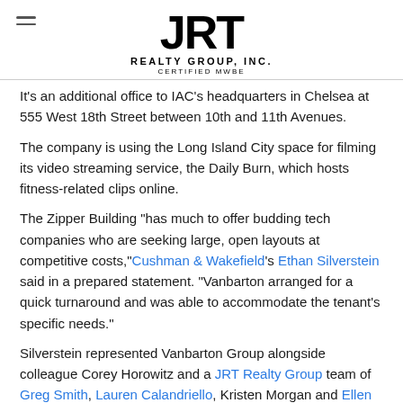JRT REALTY GROUP, INC. CERTIFIED MWBE
It's an additional office to IAC's headquarters in Chelsea at 555 West 18th Street between 10th and 11th Avenues.
The company is using the Long Island City space for filming its video streaming service, the Daily Burn, which hosts fitness-related clips online.
The Zipper Building "has much to offer budding tech companies who are seeking large, open layouts at competitive costs," Cushman & Wakefield's Ethan Silverstein said in a prepared statement. "Vanbarton arranged for a quick turnaround and was able to accommodate the tenant's specific needs."
Silverstein represented Vanbarton Group alongside colleague Corey Horowitz and a JRT Realty Group team of Greg Smith, Lauren Calandriello, Kristen Morgan and Ellen Israel.